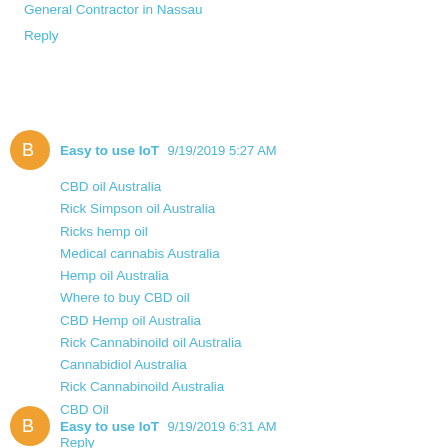General Contractor in Nassau
Reply
Easy to use IoT  9/19/2019 5:27 AM
CBD oil Australia
Rick Simpson oil Australia
Ricks hemp oil
Medical cannabis Australia
Hemp oil Australia
Where to buy CBD oil
CBD Hemp oil Australia
Rick Cannabinoild oil Australia
Cannabidiol Australia
Rick Cannabinoild Australia
CBD Oil
Reply
Easy to use IoT  9/19/2019 6:31 AM